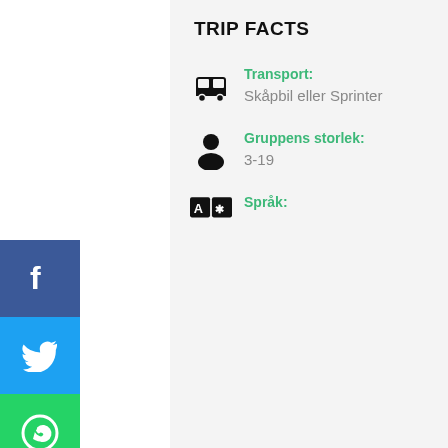TRIP FACTS
Transport: Skåpbil eller Sprinter
Gruppens storlek: 3-19
Språk:
From $25.00 per Adult
Check Availability